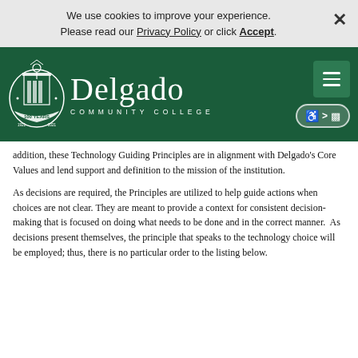We use cookies to improve your experience. Please read our Privacy Policy or click Accept.
[Figure (logo): Delgado Community College logo with 100 Years emblem on dark green header background, with hamburger menu button and accessibility icon]
addition, these Technology Guiding Principles are in alignment with Delgado's Core Values and lend support and definition to the mission of the institution.
As decisions are required, the Principles are utilized to help guide actions when choices are not clear. They are meant to provide a context for consistent decision-making that is focused on doing what needs to be done and in the correct manner.  As decisions present themselves, the principle that speaks to the technology choice will be employed; thus, there is no particular order to the listing below.